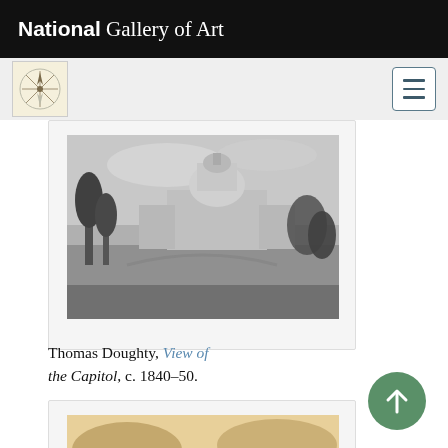National Gallery of Art
[Figure (screenshot): National Gallery of Art navigation bar with compass-rose logo icon and hamburger menu button]
[Figure (photo): Grayscale painting of the US Capitol building viewed from a distance across a landscape with trees, by Thomas Doughty]
Thomas Doughty, View of the Capitol, c. 1840–50.
[Figure (photo): Sepia-toned engraving or illustration of a neoclassical building with columns and trees]
[Figure (illustration): Green circular scroll-to-top button with upward arrow icon]